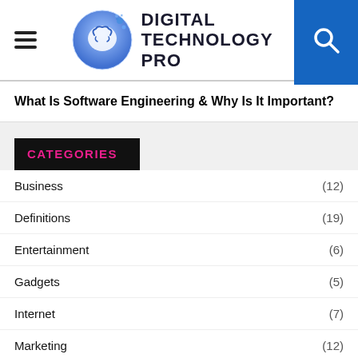Digital Technology Pro
What Is Software Engineering & Why Is It Important?
CATEGORIES
Business (12)
Definitions (19)
Entertainment (6)
Gadgets (5)
Internet (7)
Marketing (12)
Security (8)
Social Media
Technology (33)